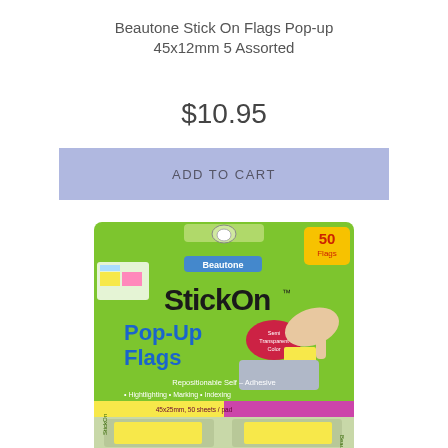Beautone Stick On Flags Pop-up 45x12mm 5 Assorted
$10.95
ADD TO CART
[Figure (photo): Product photo of Beautone StickOn Pop-Up Flags packaging, green card packaging showing 50 flags, repositionable self-adhesive, highlighting, marking, indexing, with a hand peeling a yellow flag, and yellow flag pads visible at bottom.]